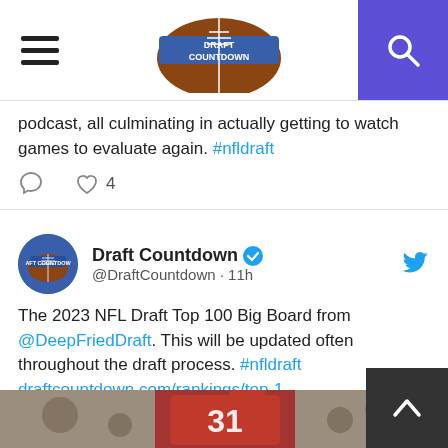Draft Countdown
podcast, all culminating in actually getting to watch games to evaluate again. #nfldraft
Draft Countdown @DraftCountdown · 11h
The 2023 NFL Draft Top 100 Big Board from @DeepFriedDraft. This will be updated often throughout the draft process. #nfldraft draftcountdown.com/rankings/top-1...
[Figure (photo): Football player wearing Alabama #31 jersey in red uniform pointing finger up, crowd in background]